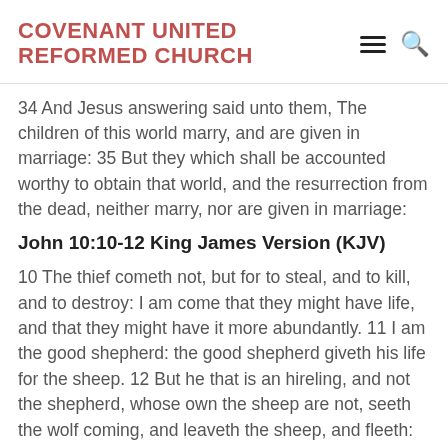COVENANT UNITED REFORMED CHURCH
34 And Jesus answering said unto them, The children of this world marry, and are given in marriage: 35 But they which shall be accounted worthy to obtain that world, and the resurrection from the dead, neither marry, nor are given in marriage:
John 10:10-12 King James Version (KJV)
10 The thief cometh not, but for to steal, and to kill, and to destroy: I am come that they might have life, and that they might have it more abundantly. 11 I am the good shepherd: the good shepherd giveth his life for the sheep. 12 But he that is an hireling, and not the shepherd, whose own the sheep are not, seeth the wolf coming, and leaveth the sheep, and fleeth: and